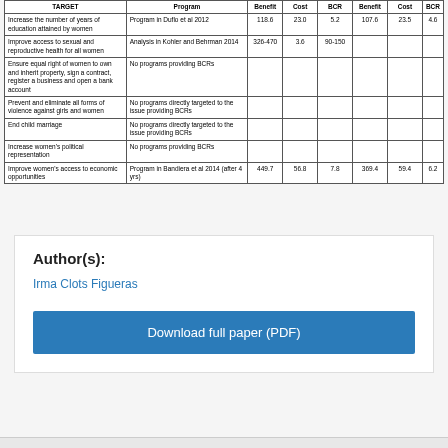| TARGET | Program | Benefit | Cost | BCR | Benefit | Cost | BCR |
| --- | --- | --- | --- | --- | --- | --- | --- |
| Increase the number of years of education attained by women | Program in Duflo et al 2012 | 118.6 | 23.0 | 5.2 | 107.6 | 23.5 | 4.6 |
| Improve access to sexual and reproductive health for all women | Analysis in Kohler and Behrman 2014 | 326-470 | 3.6 | 90-150 |  |  |  |
| Ensure equal right of women to own and inherit property, sign a contract, register a business and open a bank account | No programs providing BCRs |  |  |  |  |  |  |
| Prevent and eliminate all forms of violence against girls and women | No programs directly targeted to the issue providing BCRs |  |  |  |  |  |  |
| End child marriage | No programs directly targeted to the issue providing BCRs |  |  |  |  |  |  |
| Increase women's political representation | No programs providing BCRs |  |  |  |  |  |  |
| Improve women's access to economic opportunities | Program in Bandiera et al 2014 (after 4 yrs) | 449.7 | 56.8 | 7.8 | 369.4 | 59.4 | 6.2 |
Author(s):
Irma Clots Figueras
Download full paper (PDF)